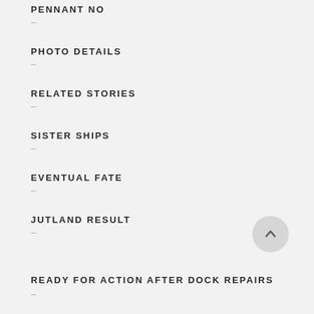PENNANT NO
–
PHOTO DETAILS
–
RELATED STORIES
–
SISTER SHIPS
–
EVENTUAL FATE
–
JUTLAND RESULT
–
READY FOR ACTION AFTER DOCK REPAIRS
–